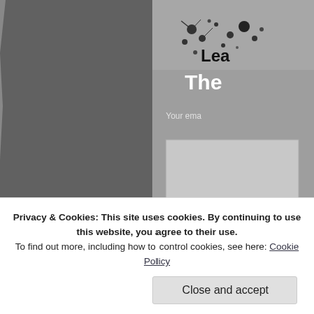[Figure (screenshot): A screenshot of a webpage showing a dark gray torn-paper-style left panel and a lighter gray textured right panel with partially visible text 'Lea...' and 'The...' and 'Your ema...' with an input box, overlaid by a white cookie consent banner at the bottom.]
Privacy & Cookies: This site uses cookies. By continuing to use this website, you agree to their use.
To find out more, including how to control cookies, see here: Cookie Policy
Close and accept